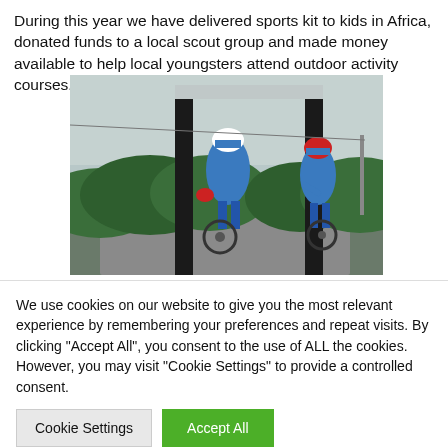During this year we have delivered sports kit to kids in Africa, donated funds to a local scout group and made money available to help local youngsters attend outdoor activity courses.
[Figure (photo): Two cyclists in blue cycling gear and helmets, one holding open a large door or panel, on a path with green bushes in the background.]
We use cookies on our website to give you the most relevant experience by remembering your preferences and repeat visits. By clicking "Accept All", you consent to the use of ALL the cookies. However, you may visit "Cookie Settings" to provide a controlled consent.